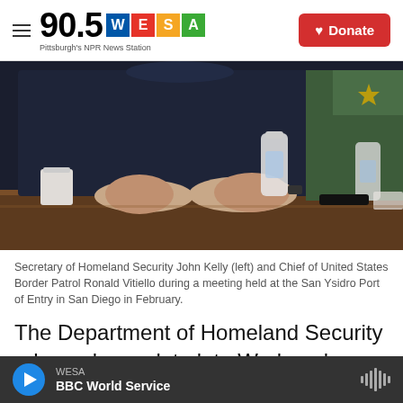90.5 WESA Pittsburgh's NPR News Station — Donate
[Figure (photo): Secretary of Homeland Security John Kelly and Chief of United States Border Patrol Ronald Vitiello sitting at a table during a meeting at the San Ysidro Port of Entry in San Diego in February.]
Secretary of Homeland Security John Kelly (left) and Chief of United States Border Patrol Ronald Vitiello during a meeting held at the San Ysidro Port of Entry in San Diego in February.
The Department of Homeland Security released new data late Wednesday showing that illegal southern border crossings diminished in the
WESA — BBC World Service